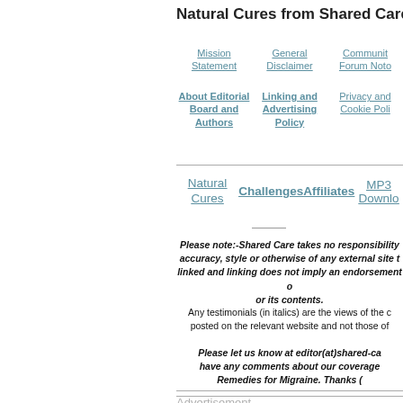Natural Cures from Shared Care's S
Mission Statement | General Disclaimer | Communit Forum Noto | About Editorial Board and Authors | Linking and Advertising Policy | Privacy and Cookie Poli
Natural Cures | Challenges | Affiliates | MP3 Downlo
Please note:-Shared Care takes no responsibility accuracy, style or otherwise of any external site linked and linking does not imply an endorsement or its contents.
Any testimonials (in italics) are the views of the c posted on the relevant website and not those of
Please let us know at editor(at)shared-ca have any comments about our coverage Remedies for Migraine. Thanks (
Advertisement